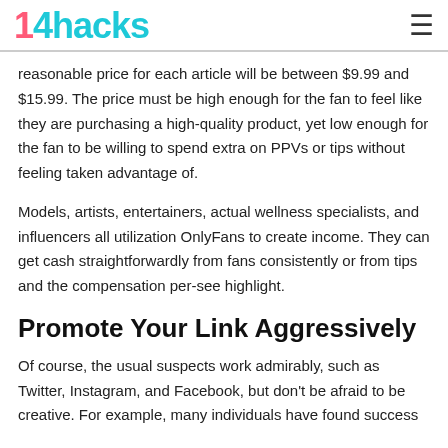14hacks
reasonable price for each article will be between $9.99 and $15.99. The price must be high enough for the fan to feel like they are purchasing a high-quality product, yet low enough for the fan to be willing to spend extra on PPVs or tips without feeling taken advantage of.
Models, artists, entertainers, actual wellness specialists, and influencers all utilization OnlyFans to create income. They can get cash straightforwardly from fans consistently or from tips and the compensation per-see highlight.
Promote Your Link Aggressively
Of course, the usual suspects work admirably, such as Twitter, Instagram, and Facebook, but don't be afraid to be creative. For example, many individuals have found success